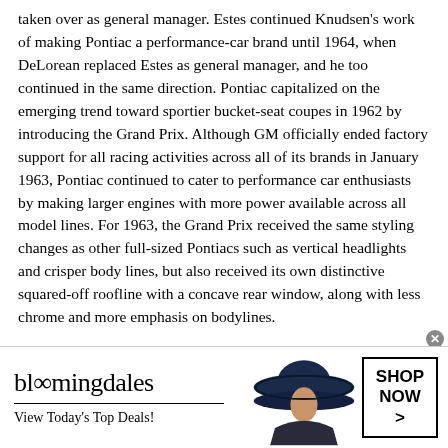taken over as general manager. Estes continued Knudsen's work of making Pontiac a performance-car brand until 1964, when DeLorean replaced Estes as general manager, and he too continued in the same direction. Pontiac capitalized on the emerging trend toward sportier bucket-seat coupes in 1962 by introducing the Grand Prix. Although GM officially ended factory support for all racing activities across all of its brands in January 1963, Pontiac continued to cater to performance car enthusiasts by making larger engines with more power available across all model lines. For 1963, the Grand Prix received the same styling changes as other full-sized Pontiacs such as vertical headlights and crisper body lines, but also received its own distinctive squared-off roofline with a concave rear window, along with less chrome and more emphasis on bodylines.
For 1964, the Tempest and LeMans' transaxle design was dropped and the cars were redesigned under GM's new A body platform; frame cars with a a conventional front-engine, rear-wheel-drive layout. The most important of these was what is now considered by many to be the original muscle...
[Figure (other): Bloomingdale's advertisement banner with logo, tagline 'View Today's Top Deals!', image of woman in wide-brim hat, and 'SHOP NOW >' button]